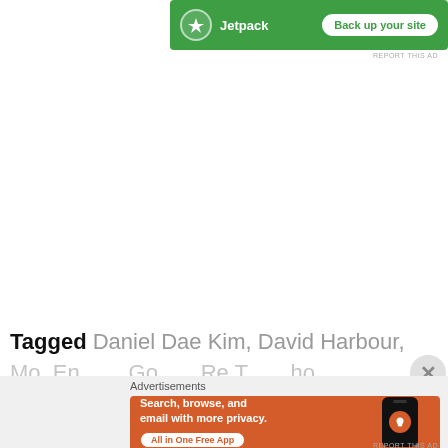[Figure (screenshot): Jetpack advertisement banner: green background with Jetpack logo and 'Back up your site' button]
REPORT THIS AD
Tagged Daniel Dae Kim, David Harbour, Eyeball
(partial second tag line, cut off)
Advertisements
[Figure (screenshot): DuckDuckGo advertisement: orange background, text 'Search, browse, and email with more privacy. All in One Free App' with DuckDuckGo phone mockup and logo]